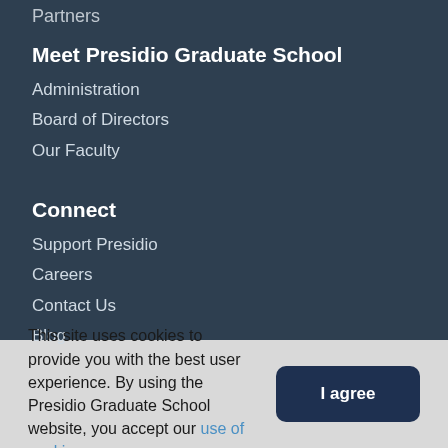Partners
Meet Presidio Graduate School
Administration
Board of Directors
Our Faculty
Connect
Support Presidio
Careers
Contact Us
Blog
This site uses cookies to provide you with the best user experience. By using the Presidio Graduate School website, you accept our use of cookies.